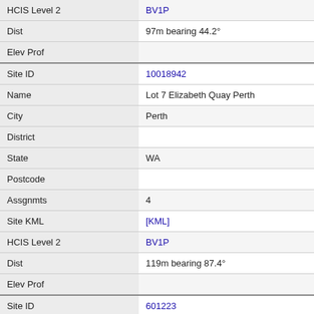| Field | Value |
| --- | --- |
| HCIS Level 2 | BV1P |
| Dist | 97m bearing 44.2° |
| Elev Prof |  |
| Site ID | 10018942 |
| Name | Lot 7 Elizabeth Quay Perth |
| City | Perth |
| District |  |
| State | WA |
| Postcode |  |
| Assgnmts | 4 |
| Site KML | [KML] |
| HCIS Level 2 | BV1P |
| Dist | 119m bearing 87.4° |
| Elev Prof |  |
| Site ID | 601223 |
| Name | The BGC Centre 28 The Esplanade PERTH |
| City | PERTH |